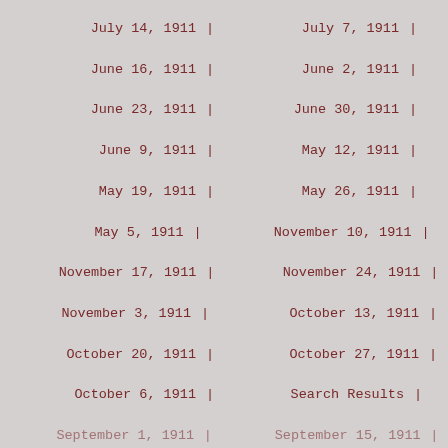July 14, 1911 | July 7, 1911 |
June 16, 1911 | June 2, 1911 |
June 23, 1911 | June 30, 1911 |
June 9, 1911 | May 12, 1911 |
May 19, 1911 | May 26, 1911 |
May 5, 1911 | November 10, 1911 |
November 17, 1911 | November 24, 1911 |
November 3, 1911 | October 13, 1911 |
October 20, 1911 | October 27, 1911 |
October 6, 1911 | Search Results |
September 1, 1911 | September 15, 1911 |